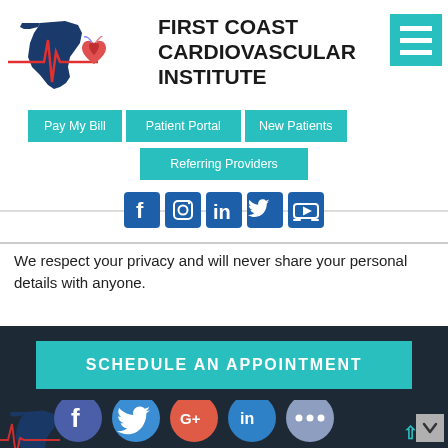[Figure (logo): First Coast Cardiovascular Institute logo: Florida state outline in dark blue with a red EKG heartbeat line and anatomical heart illustration]
FIRST COAST CARDIOVASCULAR INSTITUTE
[Figure (other): Teal hamburger menu icon (three horizontal lines) in top right corner]
Pay My Bill
Patient Portal
New Patients
Referring Providers
[Figure (infographic): Row of social media icons: Facebook, Instagram, LinkedIn, Twitter, YouTube]
We respect your privacy and will never share your personal details with anyone.
SCHEDULE AN APPOINTMENT
[Figure (infographic): Row of social media circle icons at bottom: Facebook (blue), Twitter (light blue), Google+ (red), LinkedIn (blue), More/ellipsis (gray-blue)]